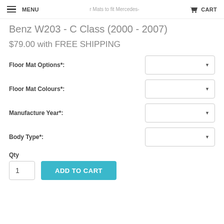MENU  CART
Floor Mats to fit Mercedes Benz W203 - C Class (2000 - 2007)
$79.00 with FREE SHIPPING
Floor Mat Options*:
Floor Mat Colours*:
Manufacture Year*:
Body Type*:
Qty
1
ADD TO CART